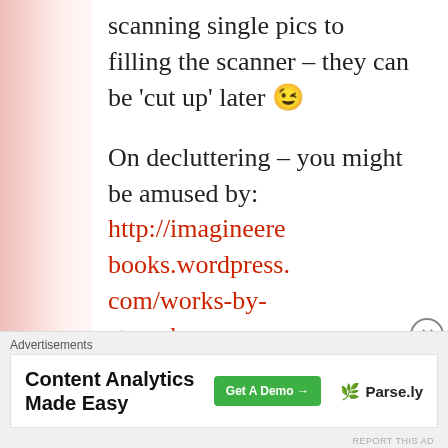scanning single pics to filling the scanner – they can be 'cut up' later 😉

On decluttering – you might be amused by: http://imaginerebbooks.wordpress.com/works-by-steve-k-smy/shorts/the-tale-of-a-tale/ 🙂
Advertisements
[Figure (other): Advertisement banner for Parse.ly - Content Analytics Made Easy, with a green 'Get A Demo' button and Parse.ly branding with leaf logo.]